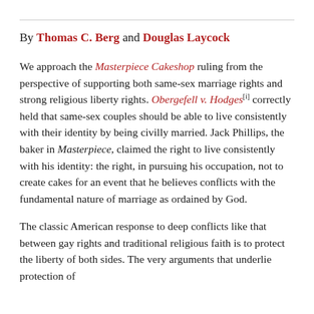By Thomas C. Berg and Douglas Laycock
We approach the Masterpiece Cakeshop ruling from the perspective of supporting both same-sex marriage rights and strong religious liberty rights. Obergefell v. Hodges[i] correctly held that same-sex couples should be able to live consistently with their identity by being civilly married. Jack Phillips, the baker in Masterpiece, claimed the right to live consistently with his identity: the right, in pursuing his occupation, not to create cakes for an event that he believes conflicts with the fundamental nature of marriage as ordained by God.
The classic American response to deep conflicts like that between gay rights and traditional religious faith is to protect the liberty of both sides. The very arguments that underlie protection of